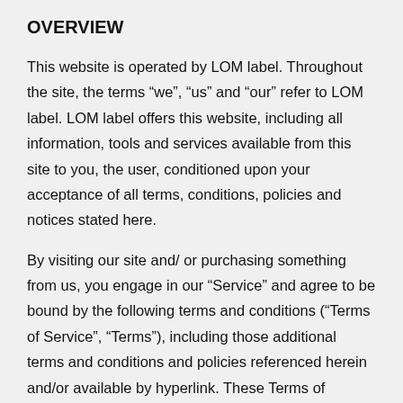OVERVIEW
This website is operated by LOM label. Throughout the site, the terms “we”, “us” and “our” refer to LOM label. LOM label offers this website, including all information, tools and services available from this site to you, the user, conditioned upon your acceptance of all terms, conditions, policies and notices stated here.
By visiting our site and/ or purchasing something from us, you engage in our “Service” and agree to be bound by the following terms and conditions (“Terms of Service”, “Terms”), including those additional terms and conditions and policies referenced herein and/or available by hyperlink. These Terms of Service apply to all users of the